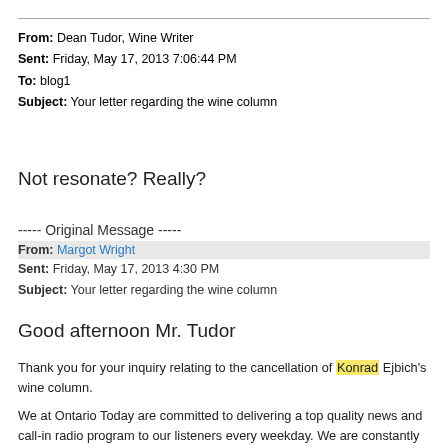From: Dean Tudor, Wine Writer
Sent: Friday, May 17, 2013 7:06:44 PM
To: blog1
Subject: Your letter regarding the wine column
Not resonate? Really?
----- Original Message -----
From: Margot Wright
Sent: Friday, May 17, 2013 4:30 PM
Subject: Your letter regarding the wine column
Good afternoon Mr. Tudor
Thank you for your inquiry relating to the cancellation of Konrad Ejbich's wine column.
We at Ontario Today are committed to delivering a top quality news and call-in radio program to our listeners every weekday. We are constantly reviewing how the different segments within our show perform in terms of listener response and audience tuning. Over time, we've found that Mr. Ejbich's wine column does not resonate with our audience as well as